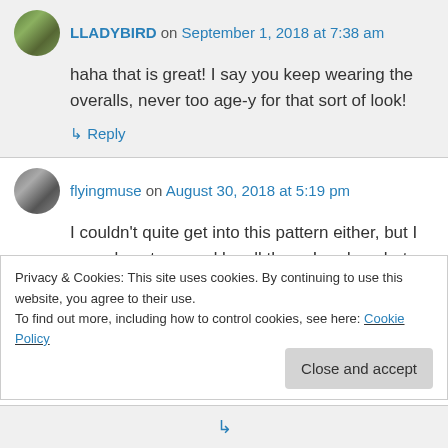LLADYBIRD on September 1, 2018 at 7:38 am
haha that is great! I say you keep wearing the overalls, never too age-y for that sort of look!
↳ Reply
flyingmuse on August 30, 2018 at 5:19 pm
I couldn't quite get into this pattern either, but I was almost swayed by all those London photos.
Privacy & Cookies: This site uses cookies. By continuing to use this website, you agree to their use.
To find out more, including how to control cookies, see here: Cookie Policy
Close and accept